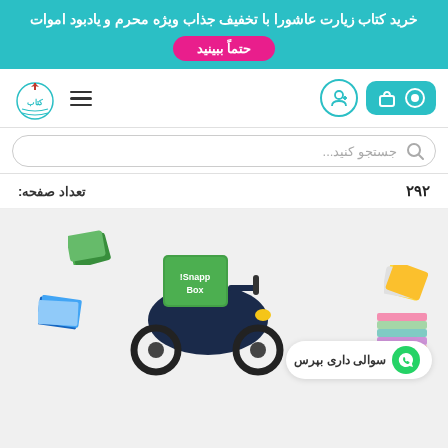خرید کتاب زیارت عاشورا با تخفیف جذاب ویژه محرم و یادبود اموات
حتماً ببینید
[Figure (logo): Website logo with book and flag icon]
[Figure (screenshot): Search bar with magnifying glass icon and placeholder text جستجو کنید...]
تعداد صفحه: ۲۹۲
[Figure (illustration): Delivery scooter with Snapp Box green box, surrounded by floating books]
سوالی داری بپرس